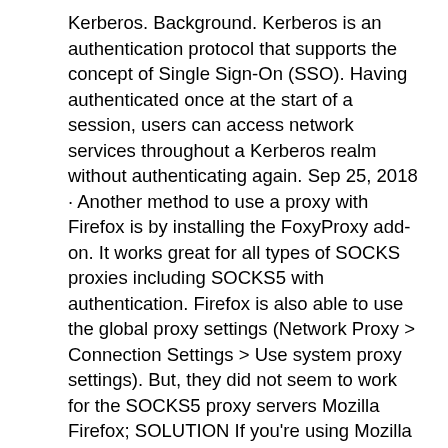Kerberos. Background. Kerberos is an authentication protocol that supports the concept of Single Sign-On (SSO). Having authenticated once at the start of a session, users can access network services throughout a Kerberos realm without authenticating again. Sep 25, 2018 · Another method to use a proxy with Firefox is by installing the FoxyProxy add-on. It works great for all types of SOCKS proxies including SOCKS5 with authentication. Firefox is also able to use the global proxy settings (Network Proxy > Connection Settings > Use system proxy settings). But, they did not seem to work for the SOCKS5 proxy servers Mozilla Firefox; SOLUTION If you're using Mozilla Firefox in such an environment and you're observing the above behavior, you need to do one of the following: Make use of hostname rather than IP when configuring the proxy settings in the browser. A Proxy Auto-Configuration (PAC) file is a JavaScript function that determines whether web browser requests (HTTP, HTTPS, and FTP) go directly to the destination or are forwarded to a web proxy server. The JavaScript function